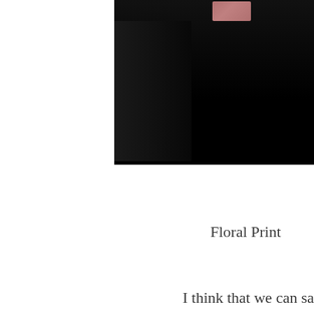[Figure (photo): A dark photograph showing a person, mostly dark tones with a small lighter element visible at the top center.]
Floral Print
I think that we can sa
As you may or may not know, I started a new job & everything else in between. I've finally settled into a n wee
And what a better way to come back to blogging norma